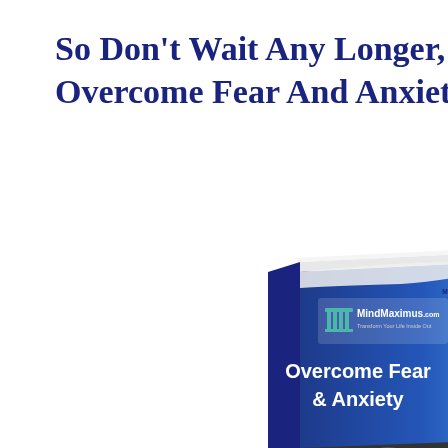So Don't Wait Any Longer, Or...
Overcome Fear And Anxiety...
[Figure (illustration): 3D book cover for 'Overcome Fear & Anxiety' by MindMaximus.com, showing a dark blue book with a logo of a classical building, the title in bold white/blue text, a yellow corner badge with small text, and a photo of a person with head in hands at the bottom. The book is shown at an angle with a slight shadow/reflection beneath it.]